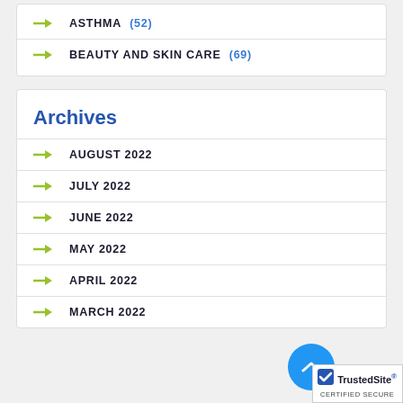ASTHMA (52)
BEAUTY AND SKIN CARE (69)
Archives
AUGUST 2022
JULY 2022
JUNE 2022
MAY 2022
APRIL 2022
MARCH 2022